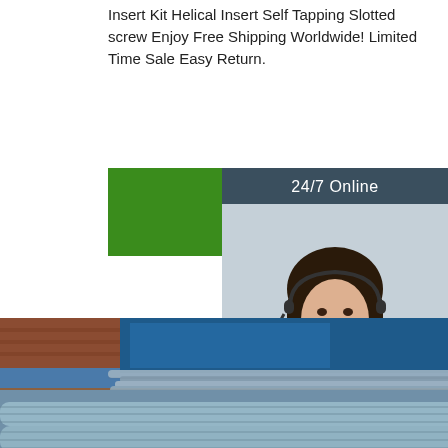Insert Kit Helical Insert Self Tapping Slotted screw Enjoy Free Shipping Worldwide! Limited Time Sale Easy Return.
[Figure (other): Green 'Get Price' button]
[Figure (other): 24/7 Online customer service box with agent photo, 'Click here for free chat!' text and orange QUOTATION button]
[Figure (photo): Stack of gray steel rods/bars piled outdoors on dirt ground (top image)]
[Figure (photo): Stack of gray steel round bars bundled together (bottom image)]